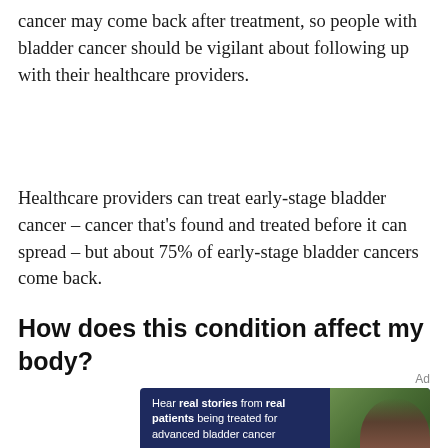cancer may come back after treatment, so people with bladder cancer should be vigilant about following up with their healthcare providers.
Healthcare providers can treat early-stage bladder cancer – cancer that's found and treated before it can spread – but about 75% of early-stage bladder cancers come back.
How does this condition affect my body?
Ad
[Figure (other): Advertisement banner with dark blue background. Text reads: Hear real stories from real patients being treated for advanced bladder cancer. Yellow Learn more button. Photo of a man on the right side. Disclaimer: C81-0645-PM 11/21.]